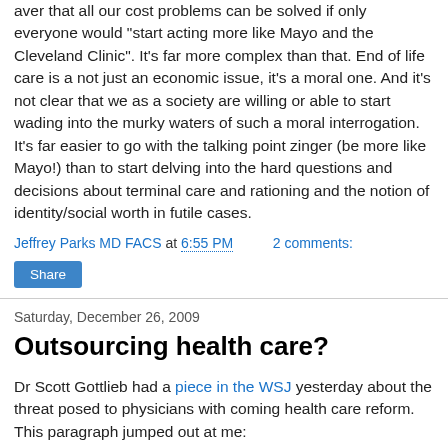aver that all our cost problems can be solved if only everyone would "start acting more like Mayo and the Cleveland Clinic". It's far more complex than that. End of life care is a not just an economic issue, it's a moral one. And it's not clear that we as a society are willing or able to start wading into the murky waters of such a moral interrogation. It's far easier to go with the talking point zinger (be more like Mayo!) than to start delving into the hard questions and decisions about terminal care and rationing and the notion of identity/social worth in futile cases.
Jeffrey Parks MD FACS at 6:55 PM    2 comments:
Share
Saturday, December 26, 2009
Outsourcing health care?
Dr Scott Gottlieb had a piece in the WSJ yesterday about the threat posed to physicians with coming health care reform. This paragraph jumped out at me: